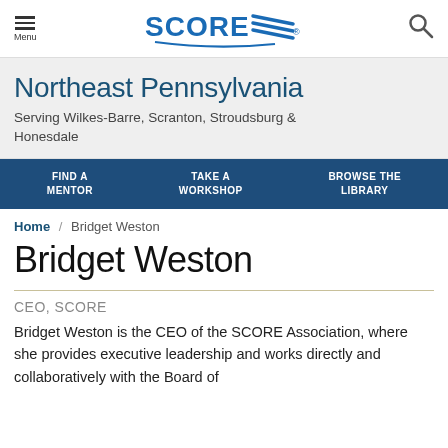Menu | SCORE (logo) | Search
Northeast Pennsylvania
Serving Wilkes-Barre, Scranton, Stroudsburg & Honesdale
FIND A MENTOR | TAKE A WORKSHOP | BROWSE THE LIBRARY
Home / Bridget Weston
Bridget Weston
CEO, SCORE
Bridget Weston is the CEO of the SCORE Association, where she provides executive leadership and works directly and collaboratively with the Board of